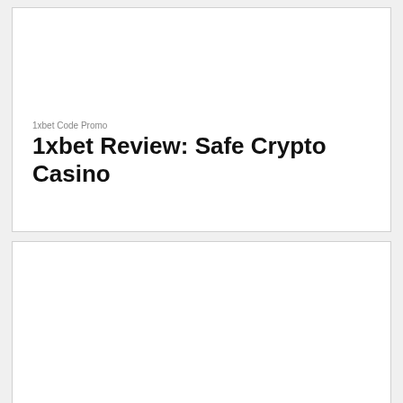1xbet Code Promo
1xbet Review: Safe Crypto Casino